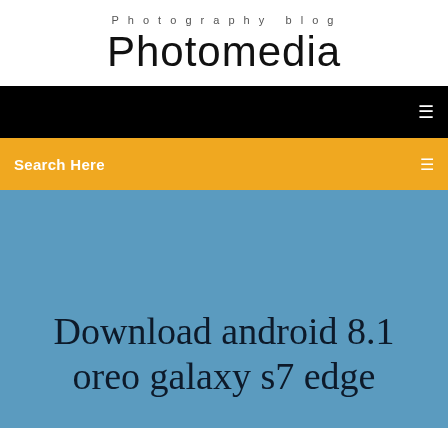Photography blog
Photomedia
Search Here
Download android 8.1 oreo galaxy s7 edge